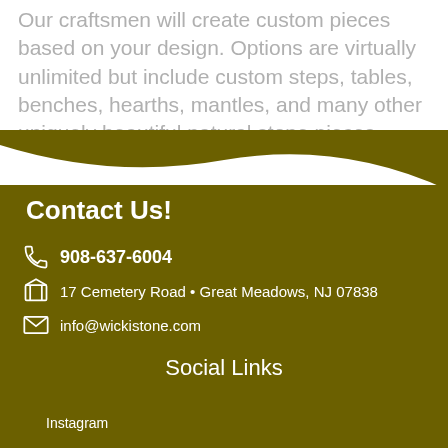Our craftsmen will create custom pieces based on your design. Options are virtually unlimited but include custom steps, tables, benches, hearths, mantles, and many other uniquely beautiful natural stone pieces.
Contact Us!
908-637-6004
17 Cemetery Road • Great Meadows, NJ 07838
info@wickistone.com
Social Links
Instagram